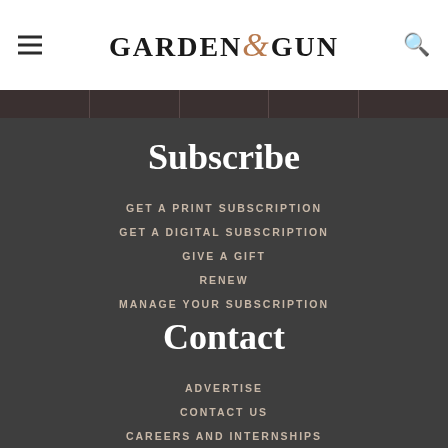Garden & Gun
Subscribe
GET A PRINT SUBSCRIPTION
GET A DIGITAL SUBSCRIPTION
GIVE A GIFT
RENEW
MANAGE YOUR SUBSCRIPTION
Contact
ADVERTISE
CONTACT US
CAREERS AND INTERNSHIPS